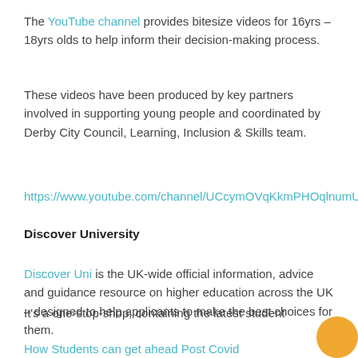The YouTube channel provides bitesize videos for 16yrs – 18yrs olds to help inform their decision-making process.
These videos have been produced by key partners involved in supporting young people and coordinated by Derby City Council, Learning, Inclusion & Skills team.
https://www.youtube.com/channel/UCcymOVqKkmPHOqlnumU70XQ
Discover University
Discover Uni is the UK-wide official information, advice and guidance resource on higher education across the UK – designed to help applicants to make the best choices for them.
It's a one-stop-shop, containing the latest student data with tools and resources to help you support your students research and apply to university or college.
How Students can get ahead Post Covid